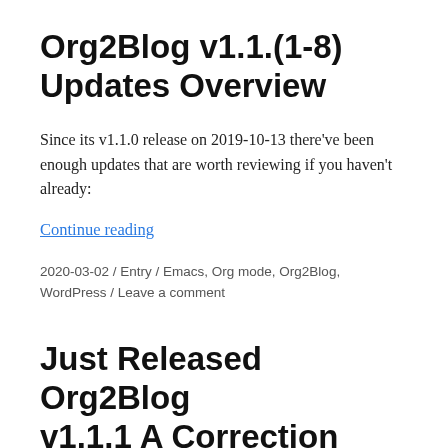Org2Blog v1.1.(1-8) Updates Overview
Since its v1.1.0 release on 2019-10-13 there've been enough updates that are worth reviewing if you haven't already:
Continue reading
2020-03-02 / Entry / Emacs, Org mode, Org2Blog, WordPress / Leave a comment
Just Released Org2Blog v1.1.1 A Correction Rel…